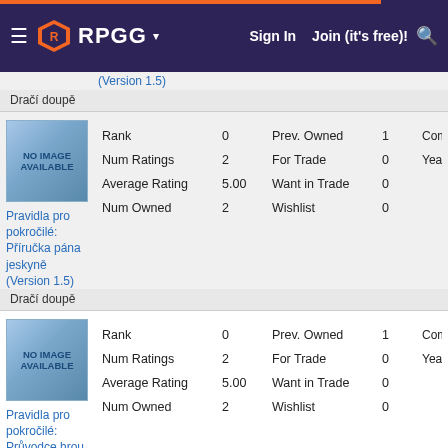RPGG | Sign In | Join (it's free)!
(Version 1.5)
Dračí doupě
| Field | Value | Field | Value | Extra |
| --- | --- | --- | --- | --- |
| Rank | 0 | Prev. Owned | 1 | Comme |
| Num Ratings | 2 | For Trade | 0 | Year Pu |
| Average Rating | 5.00 | Want in Trade | 0 |  |
| Num Owned | 2 | Wishlist | 0 |  |
Pravidla pro pokročilé: Příručka pána jeskyně (Version 1.5)
Dračí doupě
| Field | Value | Field | Value | Extra |
| --- | --- | --- | --- | --- |
| Rank | 0 | Prev. Owned | 1 | Comme |
| Num Ratings | 2 | For Trade | 0 | Year Pu |
| Average Rating | 5.00 | Want in Trade | 0 |  |
| Num Owned | 2 | Wishlist | 0 |  |
Pravidla pro pokročilé: Průvodce hrou (Version 1.5)
Dračí doupě
| Field | Value | Field | Value | Extra |
| --- | --- | --- | --- | --- |
| Rank | 0 | Prev. Owned | 1 | Comme |